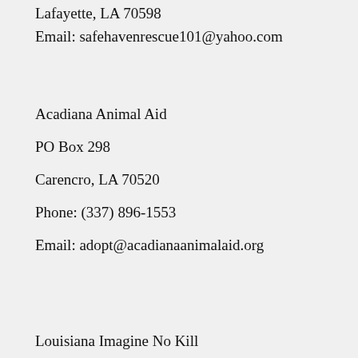Lafayette, LA 70598
Email: safehavenrescue101@yahoo.com
Acadiana Animal Aid
PO Box 298
Carencro, LA 70520
Phone: (337) 896-1553
Email: adopt@acadianaanimalaid.org
Louisiana Imagine No Kill
Rayne, LA 70578
Phone: (337) 257-4669
Email: Linkrescue@yahoo.com